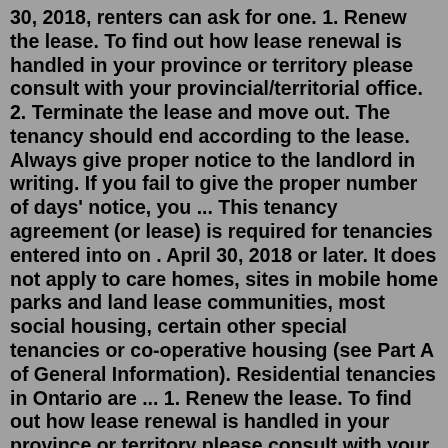30, 2018, renters can ask for one. 1. Renew the lease. To find out how lease renewal is handled in your province or territory please consult with your provincial/territorial office. 2. Terminate the lease and move out. The tenancy should end according to the lease. Always give proper notice to the landlord in writing. If you fail to give the proper number of days' notice, you ... This tenancy agreement (or lease) is required for tenancies entered into on . April 30, 2018 or later. It does not apply to care homes, sites in mobile home parks and land lease communities, most social housing, certain other special tenancies or co-operative housing (see Part A of General Information). Residential tenancies in Ontario are ... 1. Renew the lease. To find out how lease renewal is handled in your province or territory please consult with your provincial/territorial office. 2. Terminate the lease and move out. The tenancy should end according to the lease. Always give proper notice to the landlord in writing. If you fail to give the proper